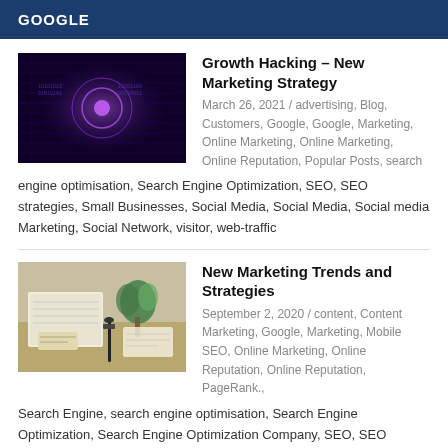GOOGLE
Growth Hacking – New Marketing Strategy
March 26, 2021 / advertising, Blog, Customers, Google, Google, Marketing, Online Marketing, Online Marketing, Online Reputation, Popular Posts, search engine optimisation, Search Engine Optimization, SEO, SEO strategies, Small Businesses, Social Media, Social Media, Social media Marketing, Social Network, visitor, web-traffic
[Figure (photo): Digital technology background with purple and blue circuit/data visualization]
New Marketing Trends and Strategies
September 2, 2020 / content, Content Marketing, Google, Marketing, Mobile SEO, Online Marketing, Online Reputation, Online Reputation, PageRank., Search Engine, search engine optimisation, Search Engine Optimization, Search Engine Optimization Company, SEO, SEO strategies, SEO Tips, Small Businesses, Social Media, Social Media, Social media Marketing, Social media Marketing, Social Network
[Figure (photo): Marketing desk scene with notebook, pen, plant and stationery items on wooden surface]